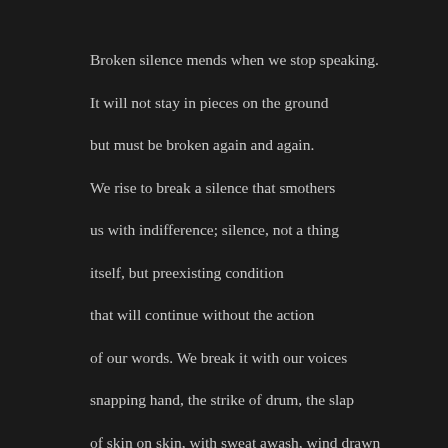Broken silence mends when we stop speaking.

It will not stay in pieces on the ground

but must be broken again and again.

We rise to break a silence that smothers

us with indifference; silence, not a thing

itself, but preexisting condition

that will continue without the action

of our words. We break it with our voices

snapping hand, the strike of drum, the slap

of skin on skin, with sweat awash, wind drawn